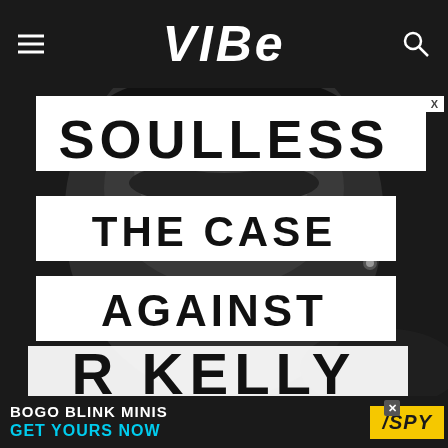VIBE
[Figure (photo): Black and white close-up portrait of R. Kelly with bold text overlays reading SOULLESS, THE CASE, AGAINST, R KELLY]
SOULLESS THE CASE AGAINST R KELLY
[Figure (infographic): Advertisement banner: BOGO BLINK MINIS GET YOURS NOW with SPY logo on yellow background]